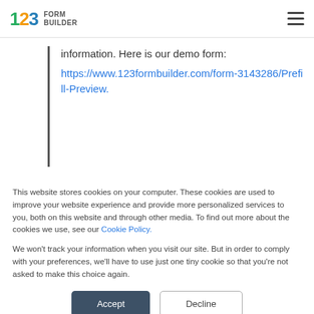123 FORM BUILDER
information. Here is our demo form:
https://www.123formbuilder.com/form-3143286/Prefill-Preview.
This website stores cookies on your computer. These cookies are used to improve your website experience and provide more personalized services to you, both on this website and through other media. To find out more about the cookies we use, see our Cookie Policy.
We won't track your information when you visit our site. But in order to comply with your preferences, we'll have to use just one tiny cookie so that you're not asked to make this choice again.
Accept | Decline